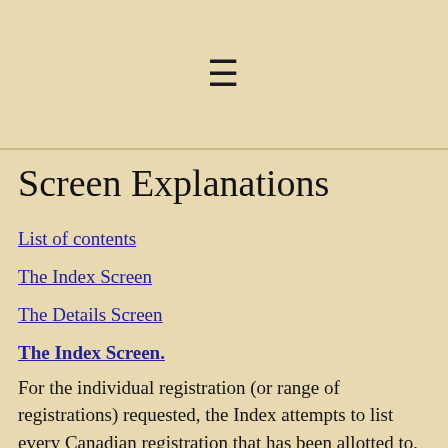≡
Screen Explanations
List of contents
The Index Screen
The Details Screen
The Index Screen.
For the individual registration (or range of registrations) requested, the Index attempts to list every Canadian registration that has been allotted to, or painted on, an aircraft (sometimes erroneously), plus errors of identification in the Library & Archives Canada catalog et